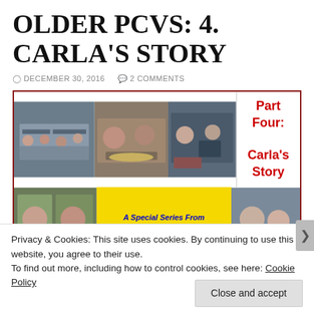OLDER PCVS: 4. CARLA'S STORY
DECEMBER 30, 2016   2 COMMENTS
[Figure (photo): Collage of photos showing older Peace Corps volunteers in Moldova, with a yellow insert panel reading 'A Special Series From notexactlyretired.com / Older Volunteers in Peace Corps Moldova' and a white panel reading 'Part Four: Carla's Story' in red text.]
Privacy & Cookies: This site uses cookies. By continuing to use this website, you agree to their use.
To find out more, including how to control cookies, see here: Cookie Policy